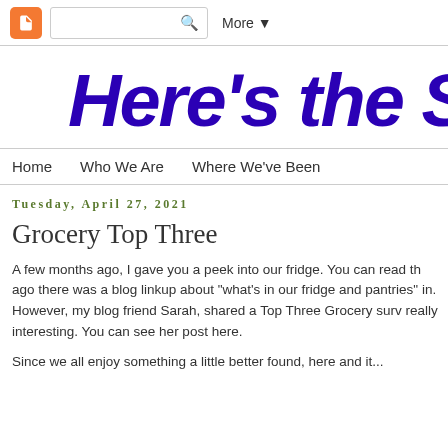Blogger navigation bar with search and More button
Here's the S
Home   Who We Are   Where We've Been
Tuesday, April 27, 2021
Grocery Top Three
A few months ago, I gave you a peek into our fridge. You can read th ago there was a blog linkup about "what's in our fridge and pantries" in. However, my blog friend Sarah, shared a Top Three Grocery surv really interesting. You can see her post here.
Since we all enjoy something a little better found, here and it...